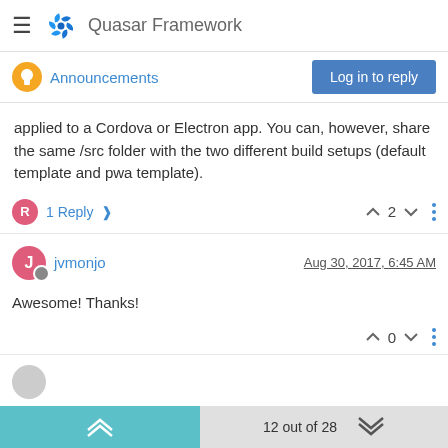Quasar Framework
Announcements
applied to a Cordova or Electron app. You can, however, share the same /src folder with the two different build setups (default template and pwa template).
1 Reply  2
jvmonjo  Aug 30, 2017, 6:45 AM
Awesome! Thanks!
0
12 out of 28